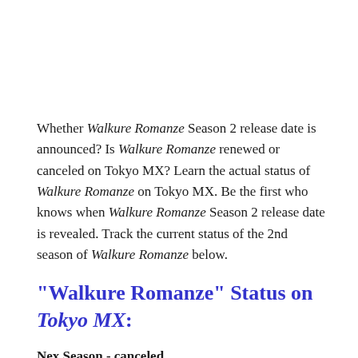Whether Walkure Romanze Season 2 release date is announced? Is Walkure Romanze renewed or canceled on Tokyo MX? Learn the actual status of Walkure Romanze on Tokyo MX. Be the first who knows when Walkure Romanze Season 2 release date is revealed. Track the current status of the 2nd season of Walkure Romanze below.
"Walkure Romanze" Status on Tokyo MX:
Nex Season - canceled